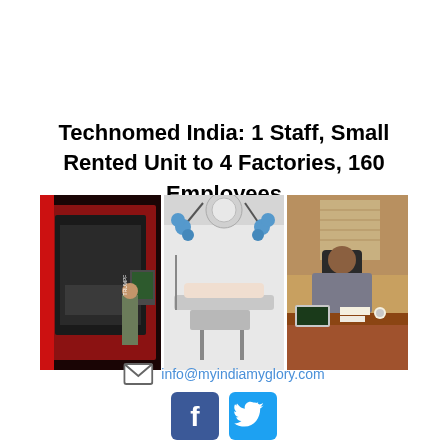Technomed India: 1 Staff, Small Rented Unit to 4 Factories, 160 Employees
[Figure (photo): Three-panel composite photo: left panel shows a large industrial laser cutting machine (red/black, labeled MODEL DNE 15 something), center panel shows a medical operating room with surgical lights and a patient on a table, right panel shows a man in business attire sitting behind a desk in an office.]
info@myindiamyglory.com